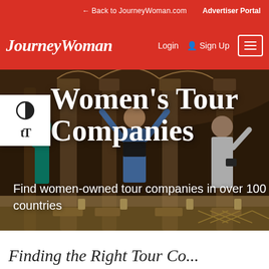← Back to JourneyWoman.com
Advertiser Portal
JourneyWoman  Login  Sign Up
[Figure (photo): Women tourists standing and raising arms among ornate stone columns in an arched heritage building, shot from below]
Women's Tour Companies
Find women-owned tour companies in over 100 countries
Finding the Right Tour Co...